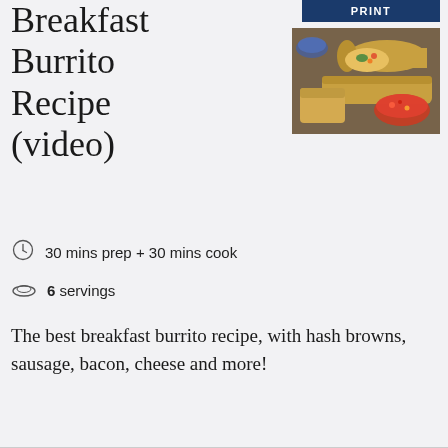Breakfast Burrito Recipe (video)
[Figure (photo): Photo of breakfast burritos cut in half showing filling of eggs, sausage, peppers, with salsa on the side]
30 mins prep + 30 mins cook
6 servings
The best breakfast burrito recipe, with hash browns, sausage, bacon, cheese and more!